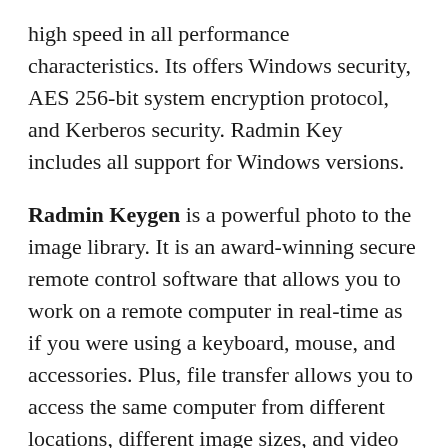high speed in all performance characteristics. Its offers Windows security, AES 256-bit system encryption protocol, and Kerberos security. Radmin Key includes all support for Windows versions.
Radmin Keygen is a powerful photo to the image library. It is an award-winning secure remote control software that allows you to work on a remote computer in real-time as if you were using a keyboard, mouse, and accessories. Plus, file transfer allows you to access the same computer from different locations, different image sizes, and video recording speeds. The builder creates creation, text, and voice chat, and generates web application and applet launch code, Telnet, including 20 FIFA World Cup game modes, view-only mode and full control